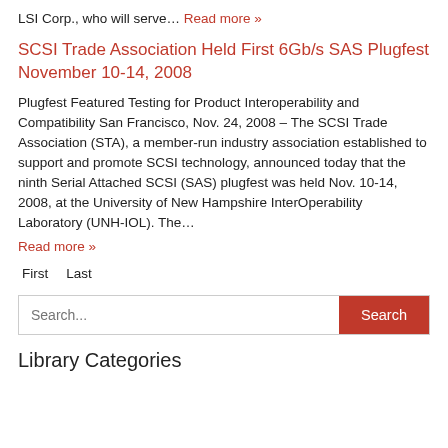LSI Corp., who will serve… Read more »
SCSI Trade Association Held First 6Gb/s SAS Plugfest November 10-14, 2008
Plugfest Featured Testing for Product Interoperability and Compatibility San Francisco, Nov. 24, 2008 – The SCSI Trade Association (STA), a member-run industry association established to support and promote SCSI technology, announced today that the ninth Serial Attached SCSI (SAS) plugfest was held Nov. 10-14, 2008, at the University of New Hampshire InterOperability Laboratory (UNH-IOL). The…
Read more »
First   Last
Search...
Library Categories